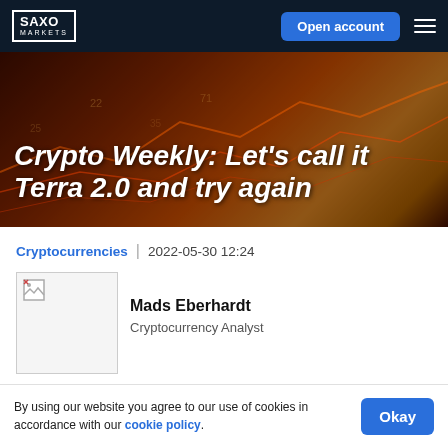SAXO MARKETS | Open account
[Figure (photo): Dark financial chart background with orange/red glowing lines, used as hero image]
Crypto Weekly: Let's call it Terra 2.0 and try again
Cryptocurrencies | 2022-05-30 12:24
[Figure (photo): Author photo of Mads Eberhardt (broken image)]
Mads Eberhardt
Cryptocurrency Analyst
By using our website you agree to our use of cookies in accordance with our cookie policy.